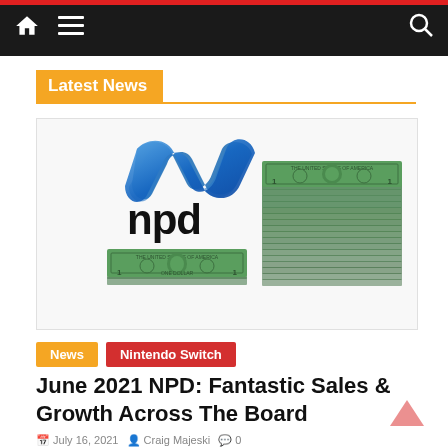Navigation bar with home icon, menu icon, and search icon
Latest News
[Figure (illustration): NPD logo (blue swoosh with 'npd' text) alongside stacked dollar bill icons — one smaller stack on the left and one larger stack of bills on the right]
News
Nintendo Switch
June 2021 NPD: Fantastic Sales & Growth Across The Board
July 16, 2021   Craig Majeski   0